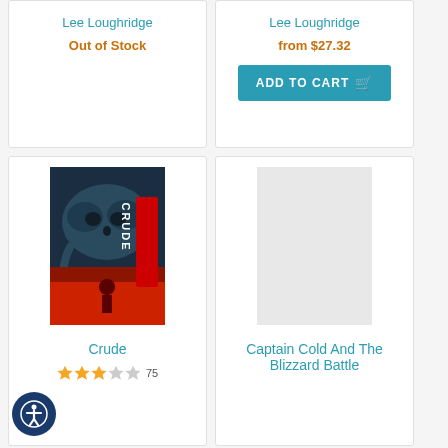Lee Loughridge
Out of Stock
Lee Loughridge
from $27.32
ADD TO CART
[Figure (photo): Book cover of 'Crude' showing a dark skull-shaped smoke cloud over a red background with a figure below, title 'CRUDE' in red vertical text]
Crude
75 (star rating: 2.5/5)
Captain Cold And The Blizzard Battle